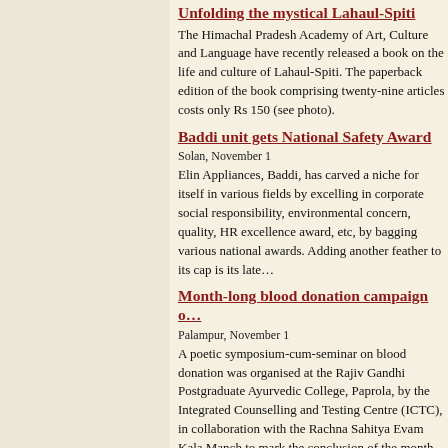Unfolding the mystical Lahaul-Spiti
The Himachal Pradesh Academy of Art, Culture and Language have recently released a book on the life and culture of Lahaul-Spiti. The paperback edition of the book comprising twenty-nine articles costs only Rs 150 (see photo).
Baddi unit gets National Safety Award
Solan, November 1
Elin Appliances, Baddi, has carved a niche for itself in various fields by excelling in corporate social responsibility, environmental concern, quality, HR excellence award, etc, by bagging various national awards. Adding another feather to its cap is its late…
Month-long blood donation campaign o…
Palampur, November 1
A poetic symposium-cum-seminar on blood donation was organised at the Rajiv Gandhi Postgraduate Ayurvedic College, Paprola, by the Integrated Counselling and Testing Centre (ICTC), in collaboration with the Rachna Sahitya Evam Kala Manch to mark the conclusion of the month-long blood donation awareness campaign under the aegis of the State Blood Transfusion Council.
Officers of Health and Ayurvedic Departments at a workshop at Rajiv Gandhi Postgraduate Ayurvedic College in Paprola. Photo: writer
Nurpur Civil Hospital lacks basic facili…